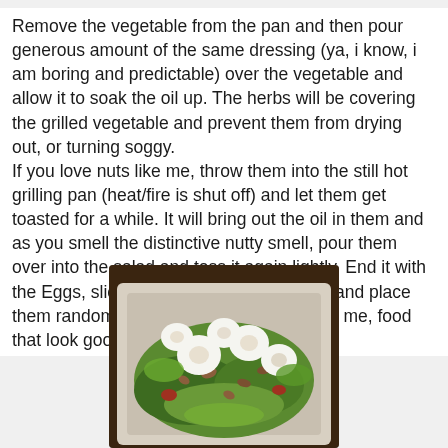Remove the vegetable from the pan and then pour generous amount of the same dressing (ya, i know, i am boring and predictable) over the vegetable and allow it to soak the oil up. The herbs will be covering the grilled vegetable and prevent them from drying out, or turning soggy.
If you love nuts like me, throw them into the still hot grilling pan (heat/fire is shut off) and let them get toasted for a while. It will bring out the oil in them and as you smell the distinctive nutty smell, pour them over into the salad and toss it again lightly. End it with the Eggs, sliced whichever way you want and place them randomly on top for that "visual". For me, food that look good is a bonus. :)
[Figure (photo): A bowl of salad with grilled vegetables, sliced boiled eggs (white rounds visible), mixed greens/lettuce, and nuts, served in a white square bowl on a table.]